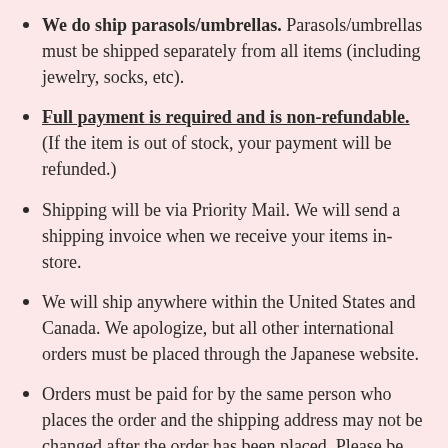We do ship parasols/umbrellas. Parasols/umbrellas must be shipped separately from all items (including jewelry, socks, etc).
Full payment is required and is non-refundable. (If the item is out of stock, your payment will be refunded.)
Shipping will be via Priority Mail. We will send a shipping invoice when we receive your items in-store.
We will ship anywhere within the United States and Canada. We apologize, but all other international orders must be placed through the Japanese website.
Orders must be paid for by the same person who places the order and the shipping address may not be changed after the order has been placed. Please be sure to provide the correct shipping address when making your order.
Once you confirm your order, it cannot be changed. Additions will be treated as a new order.
Cancellations after confirmation will result in suspension of all preorption and special order...